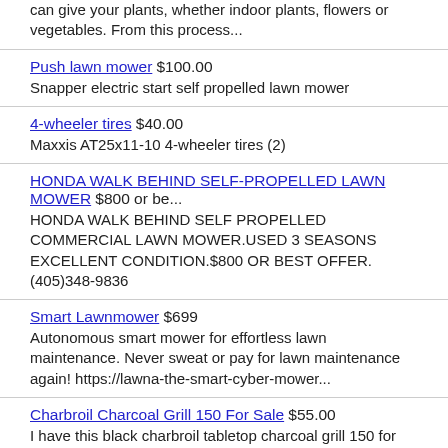can give your plants, whether indoor plants, flowers or vegetables. From this process...
Push lawn mower $100.00
Snapper electric start self propelled lawn mower
4-wheeler tires $40.00
Maxxis AT25x11-10 4-wheeler tires (2)
HONDA WALK BEHIND SELF-PROPELLED LAWN MOWER $800 or be...
HONDA WALK BEHIND SELF PROPELLED COMMERCIAL LAWN MOWER.USED 3 SEASONS EXCELLENT CONDITION.$800 OR BEST OFFER. (405)348-9836
Smart Lawnmower $699
Autonomous smart mower for effortless lawn maintenance. Never sweat or pay for lawn maintenance again! https://lawna-the-smart-cyber-mower...
Charbroil Charcoal Grill 150 For Sale $55.00
I have this black charbroil tabletop charcoal grill 150 for sale. Open Box never used still new in box. It has air dampers for temperature control,...
2020 Ariens Path-Pro 21 inch Single-stage Snow Blower w Electric Start $197
2020 Ariens Path-Pro 21-in 208-cc Single-stage Snow Blower